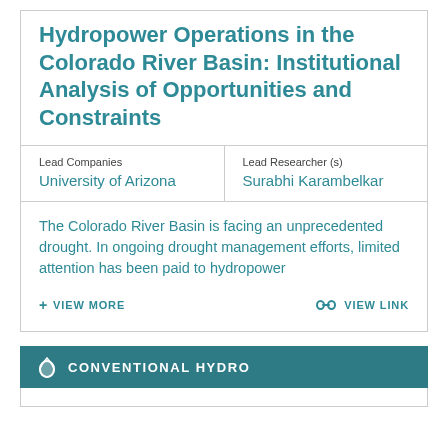Hydropower Operations in the Colorado River Basin: Institutional Analysis of Opportunities and Constraints
Lead Companies
University of Arizona
Lead Researcher (s)
Surabhi Karambelkar
The Colorado River Basin is facing an unprecedented drought. In ongoing drought management efforts, limited attention has been paid to hydropower
+ VIEW MORE
VIEW LINK
CONVENTIONAL HYDRO